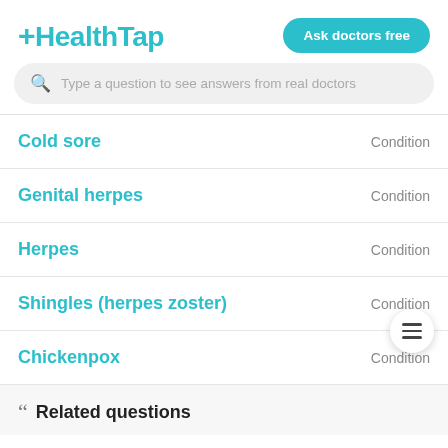[Figure (logo): HealthTap logo with teal color and plus sign prefix]
Ask doctors free
Type a question to see answers from real doctors
Cold sore  Condition
Genital herpes  Condition
Herpes  Condition
Shingles (herpes zoster)  Condition
Chickenpox  Condition
Related questions